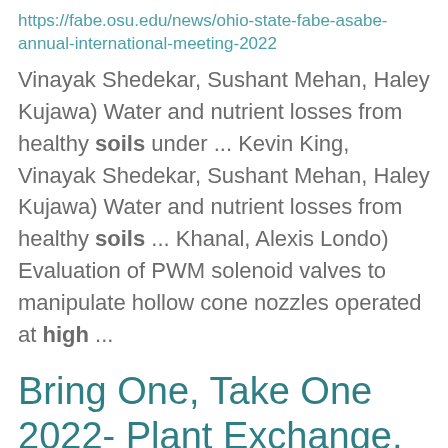https://fabe.osu.edu/news/ohio-state-fabe-asabe-annual-international-meeting-2022
Vinayak Shedekar, Sushant Mehan, Haley Kujawa) Water and nutrient losses from healthy soils under ... Kevin King, Vinayak Shedekar, Sushant Mehan, Haley Kujawa) Water and nutrient losses from healthy soils ... Khanal, Alexis Londo) Evaluation of PWM solenoid valves to manipulate hollow cone nozzles operated at high ...
Bring One, Take One 2022- Plant Exchange, Plant, Garden Art, & Garden Item Sale
https://mahoning.osu.edu/news/bring-one-take-